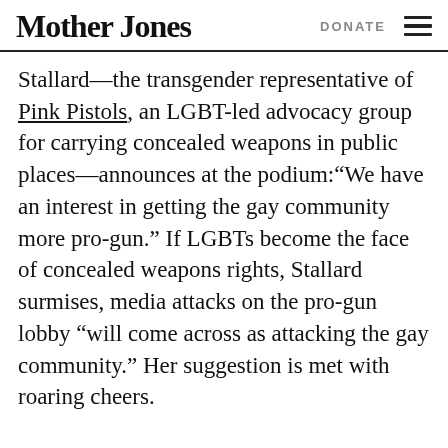Mother Jones | DONATE
Stallard—the transgender representative of Pink Pistols, an LGBT-led advocacy group for carrying concealed weapons in public places—announces at the podium:“We have an interest in getting the gay community more pro-gun.” If LGBTs become the face of concealed weapons rights, Stallard surmises, media attacks on the pro-gun lobby “will come across as attacking the gay community.” Her suggestion is met with roaring cheers.
Several speakers encourage recruiting gay people, women, and minorities into the pro-gun, anti-regulations fold. “People who are the most vulnerable in society benefit the most from having the…